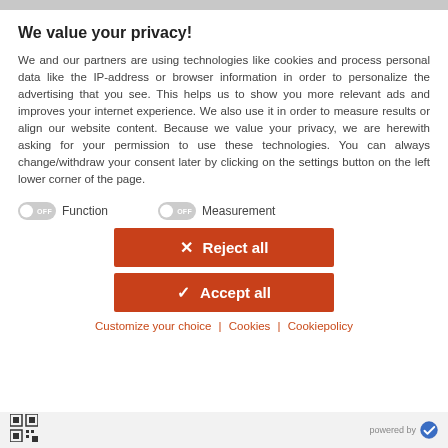We value your privacy!
We and our partners are using technologies like cookies and process personal data like the IP-address or browser information in order to personalize the advertising that you see. This helps us to show you more relevant ads and improves your internet experience. We also use it in order to measure results or align our website content. Because we value your privacy, we are herewith asking for your permission to use these technologies. You can always change/withdraw your consent later by clicking on the settings button on the left lower corner of the page.
OFF Function   OFF Measurement
[Figure (infographic): Two toggle switches both set to OFF: one labeled Function, one labeled Measurement, with red Reject all and Accept all buttons below]
Customize your choice | Cookies | Cookiepolicy
powered by